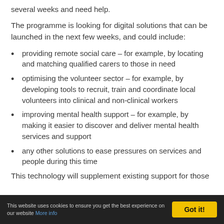several weeks and need help.
The programme is looking for digital solutions that can be launched in the next few weeks, and could include:
providing remote social care – for example, by locating and matching qualified carers to those in need
optimising the volunteer sector – for example, by developing tools to recruit, train and coordinate local volunteers into clinical and non-clinical workers
improving mental health support – for example, by making it easier to discover and deliver mental health services and support
any other solutions to ease pressures on services and people during this time
This technology will supplement existing support for those
This website uses cookies to ensure you get the best experience on our website More info